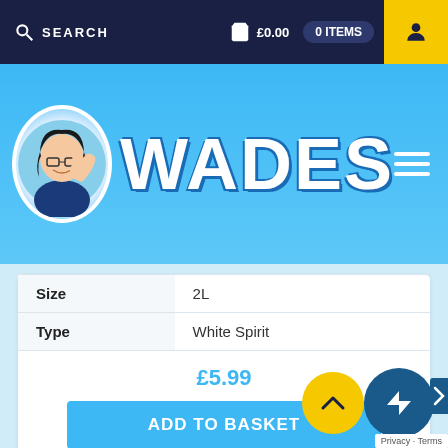SEARCH  £0.00  0 ITEMS
[Figure (logo): WADES logo with mascot character and blue background header bar]
| Size | 2L |
| Type | White Spirit |
£5.99
ADD TO BASKET
Compare